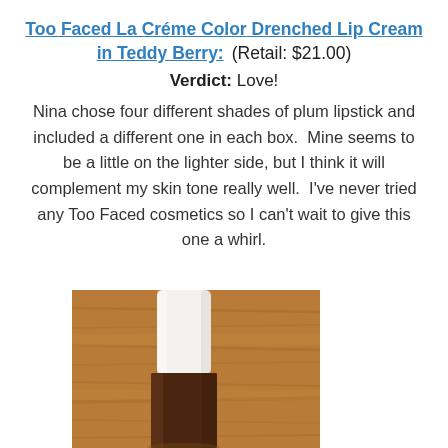Too Faced La Créme Color Drenched Lip Cream in Teddy Berry:  (Retail: $21.00)
Verdict: Love!
Nina chose four different shades of plum lipstick and included a different one in each box.  Mine seems to be a little on the lighter side, but I think it will complement my skin tone really well.  I've never tried any Too Faced cosmetics so I can't wait to give this one a whirl.
[Figure (photo): Photo of a Too Faced La Créme lip cream product with a white cylindrical cap, and a dark brown bottle body, placed on a wooden surface.]